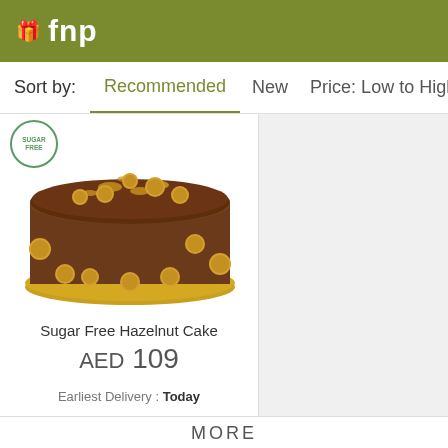fnp
Sort by:   Recommended   New   Price: Low to High   P...
[Figure (photo): A round chocolate hazelnut cake decorated with whole hazelnuts on a gold plate, with a sugar-free badge in the top left corner.]
Sugar Free Hazelnut Cake
AED 109
Earliest Delivery : Today
MORE